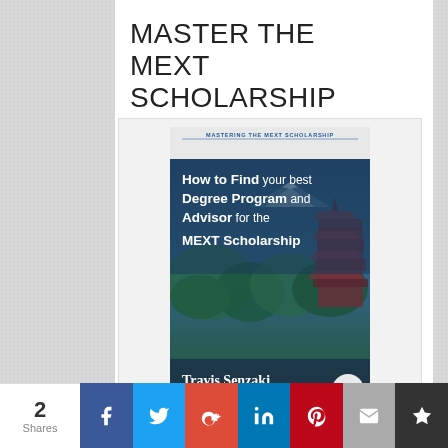MASTER THE MEXT SCHOLARSHIP
[Figure (illustration): Book cover for 'Mastering the MEXT Scholarship: How to Find your best Degree Program and Advisor for the MEXT Scholarship' by Travis Senzaki, The Transenz Guide, volume 3. Cover shows a Japanese pagoda and Mount Fuji with green trees, blue tones.]
2 Shares | Facebook | Twitter | Google+ | LinkedIn | Pinterest | Email | Save